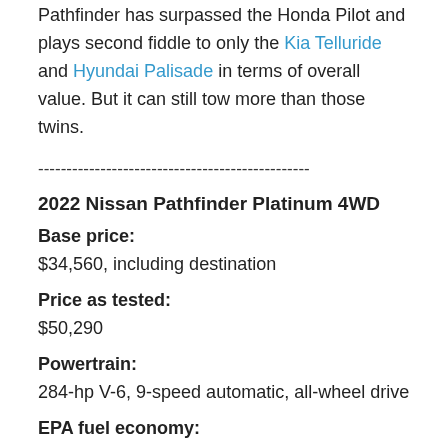Pathfinder has surpassed the Honda Pilot and plays second fiddle to only the Kia Telluride and Hyundai Palisade in terms of overall value. But it can still tow more than those twins.
------------------------------------------------
2022 Nissan Pathfinder Platinum 4WD
Base price:
$34,560, including destination
Price as tested:
$50,290
Powertrain:
284-hp V-6, 9-speed automatic, all-wheel drive
EPA fuel economy: